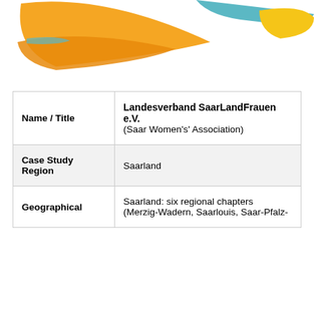[Figure (logo): Colorful abstract swooping shapes logo in orange, yellow, and teal/cyan colors on white background — SaarLandFrauen organization logo]
| Name / Title | Landesverband SaarLandFrauen e.V.
(Saar Women's' Association) |
| Case Study Region | Saarland |
| Geographical | Saarland: six regional chapters
(Merzig-Wadern, Saarlouis, Saar-Pfalz- |